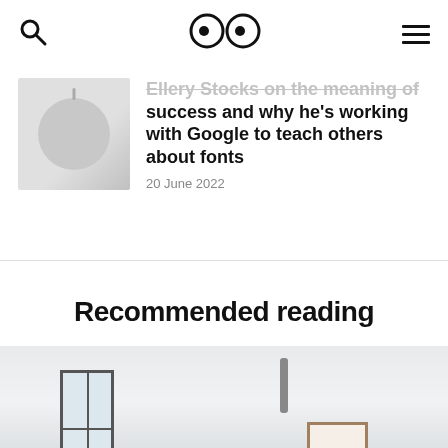Search | Logo (eyes icon) | Menu
Ellery Stocks on the meaning of success and why he's working with Google to teach others about fonts
20 June 2022
Recommended reading
[Figure (photo): Interior room with large window, ceiling pipe fixture, and framed artwork on wall]